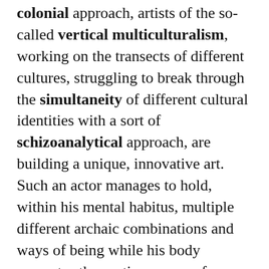colonial approach, artists of the so-called vertical multiculturalism, working on the transects of different cultures, struggling to break through the simultaneity of different cultural identities with a sort of schizoanalytical approach, are building a unique, innovative art. Such an actor manages to hold, within his mental habitus, multiple different archaic combinations and ways of being while his body emanates the gestic essence of modern theatre, which gives a vertiginous dimension to the internal, ritual element. The same can be said for the above-described directorial interventions.